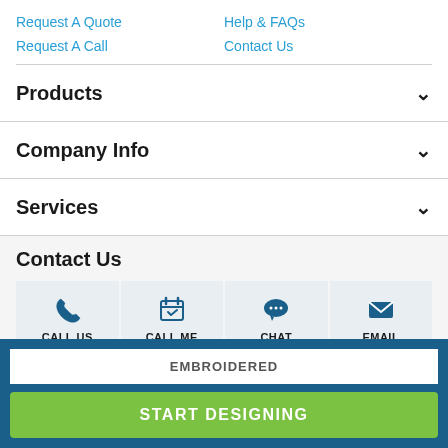Request A Quote
Help & FAQs
Request A Call
Contact Us
Products
Company Info
Services
Contact Us
[Figure (infographic): Four contact buttons: CALL US (phone icon), CALL ME (calendar icon), CHAT (speech bubble icon), EMAIL (envelope icon)]
EMBROIDERED
START DESIGNING